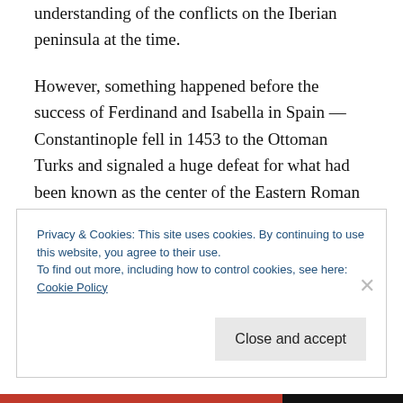understanding of the conflicts on the Iberian peninsula at the time.
However, something happened before the success of Ferdinand and Isabella in Spain — Constantinople fell in 1453 to the Ottoman Turks and signaled a huge defeat for what had been known as the center of the Eastern Roman Catholic empire. It was the fulfillment of the letter which Mohammad had sent to the Byzantine Emperor Heraclius way back around
Privacy & Cookies: This site uses cookies. By continuing to use this website, you agree to their use.
To find out more, including how to control cookies, see here:
Cookie Policy
Close and accept